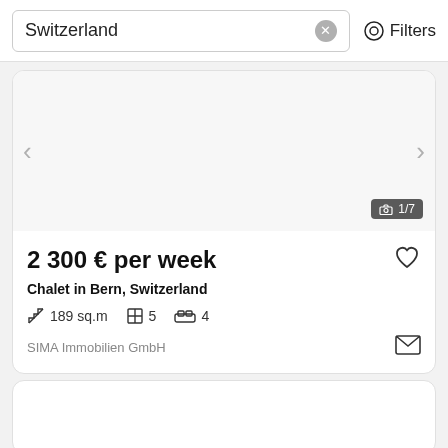Switzerland  Filters
[Figure (screenshot): Listing image area with left and right navigation arrows and photo counter showing 1/7]
2 300 € per week
Chalet in Bern, Switzerland
189 sq.m  5  4
SIMA Immobilien GmbH